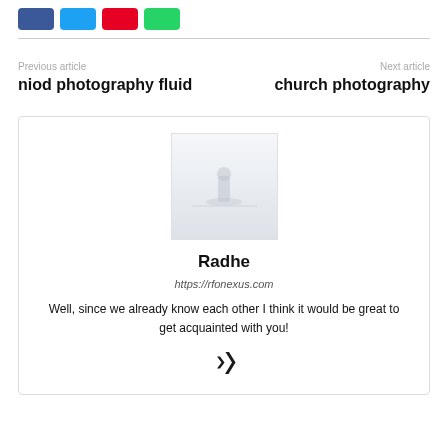[Figure (other): Row of four social share buttons: Facebook (blue), Twitter (cyan), Pinterest (red), WhatsApp (green)]
Previous article
niod photography fluid
Next article
church photography
[Figure (photo): Profile avatar photo — very light/washed-out photograph of a figure in a misty or snowy outdoor scene]
Radhe
https://rfonexus.com
Well, since we already know each other I think it would be great to get acquainted with you!
[Figure (logo): Xing social network logo (stylized X shape)]